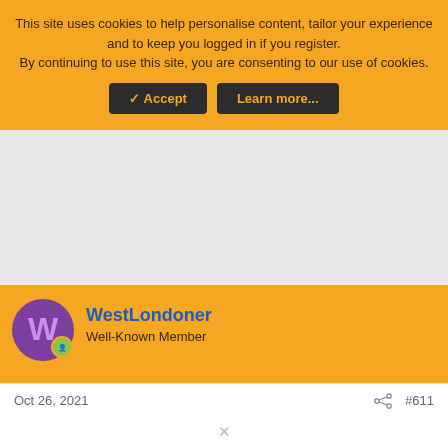This site uses cookies to help personalise content, tailor your experience and to keep you logged in if you register.
By continuing to use this site, you are consenting to our use of cookies.
[Figure (screenshot): Cookie consent banner with Accept and Learn more buttons on orange background]
[Figure (other): Grey advertisement/content placeholder area]
WestLondoner
Well-Known Member
Oct 26, 2021
#611